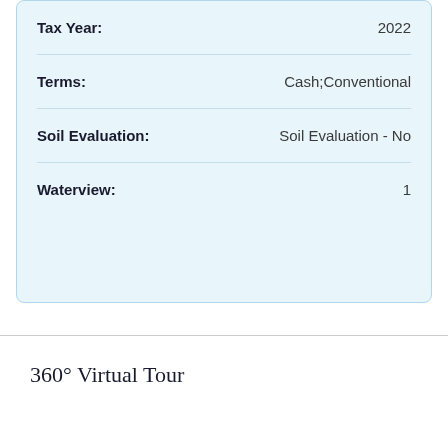| Field | Value |
| --- | --- |
| Tax Year: | 2022 |
| Terms: | Cash;Conventional |
| Soil Evaluation: | Soil Evaluation - No |
| Waterview: | 1 |
360° Virtual Tour